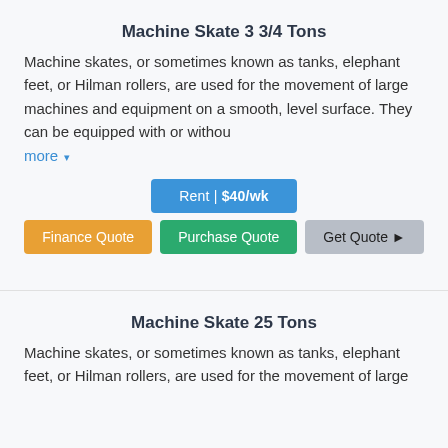Machine Skate 3 3/4 Tons
Machine skates, or sometimes known as tanks, elephant feet, or Hilman rollers, are used for the movement of large machines and equipment on a smooth, level surface. They can be equipped with or withou
more ▾
Rent | $40/wk
Finance Quote | Purchase Quote | Get Quote ▶
Machine Skate 25 Tons
Machine skates, or sometimes known as tanks, elephant feet, or Hilman rollers, are used for the movement of large